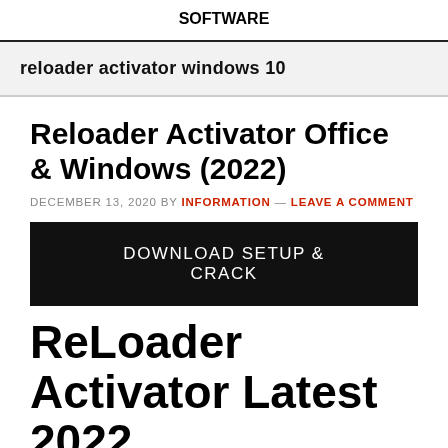SOFTWARE
reloader activator windows 10
Reloader Activator Office & Windows (2022)
DECEMBER 13, 2020 BY INFORMATION — LEAVE A COMMENT
[Figure (other): Black button with white text: DOWNLOAD SETUP & CRACK]
ReLoader Activator Latest 2022